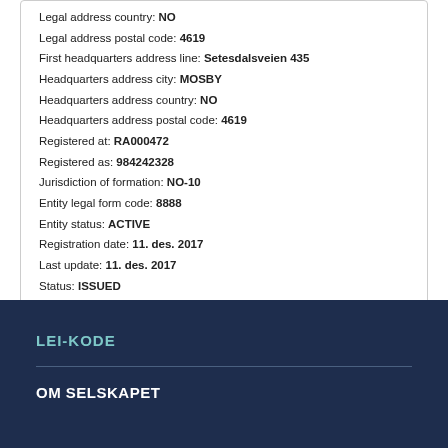Legal address country: NO
Legal address postal code: 4619
First headquarters address line: Setesdalsveien 435
Headquarters address city: MOSBY
Headquarters address country: NO
Headquarters address postal code: 4619
Registered at: RA000472
Registered as: 984242328
Jurisdiction of formation: NO-10
Entity legal form code: 8888
Entity status: ACTIVE
Registration date: 11. des. 2017
Last update: 11. des. 2017
Status: ISSUED
Next renewal: 11. des. 2018
Lei issuer: 5493001KJTIIGC8Y1R12
Corroboration level: FULLY_CORROBORATED
Data validated at (id): RA000472
Data validated as: 984242328
LEI-KODE
OM SELSKAPET